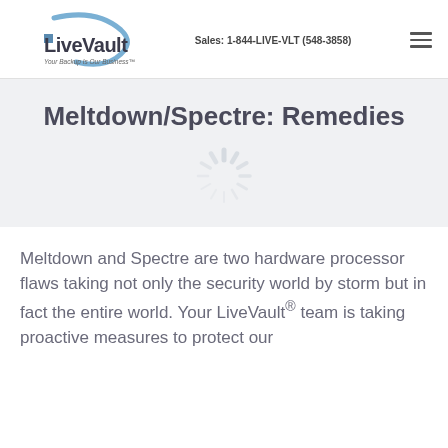[Figure (logo): LiveVault logo with blue arc/oval graphic and small blue square, company name in dark gray bold sans-serif. Tagline: Your Backup Is Our Business™]
Sales: 1-844-LIVE-VLT (548-3858)
Meltdown/Spectre: Remedies
[Figure (other): Loading spinner icon (starburst/ajax spinner) in light gray]
Meltdown and Spectre are two hardware processor flaws taking not only the security world by storm but in fact the entire world. Your LiveVault® team is taking proactive measures to protect our